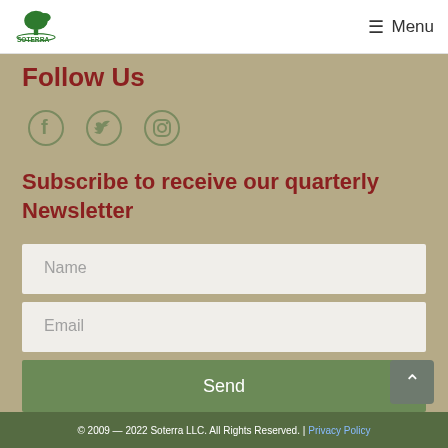SOTERRA  Menu
Follow Us
[Figure (illustration): Social media icons: Facebook, Twitter, Instagram]
Subscribe to receive our quarterly Newsletter
Name (input field placeholder)
Email (input field placeholder)
Send (button)
© 2009 — 2022 Soterra LLC. All Rights Reserved. | Privacy Policy